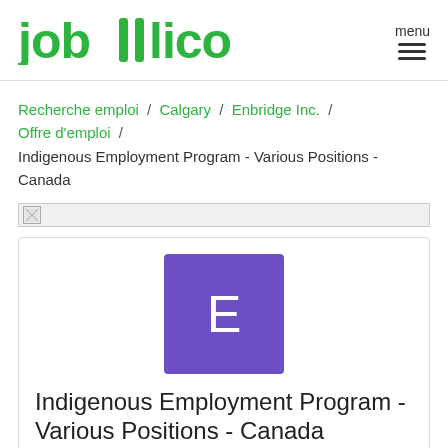Jobillico menu
Recherche emploi / Calgary / Enbridge Inc. / Offre d'emploi / Indigenous Employment Program - Various Positions - Canada
[Figure (photo): Broken image placeholder banner]
[Figure (logo): Purple square with white letter E - Enbridge Inc. company logo placeholder]
Indigenous Employment Program - Various Positions - Canada
Enbridge Inc.
Calgary, AB